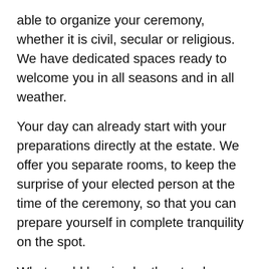able to organize your ceremony, whether it is civil, secular or religious. We have dedicated spaces ready to welcome you in all seasons and in all weather.
Your day can already start with your preparations directly at the estate. We offer you separate rooms, to keep the surprise of your elected person at the time of the ceremony, so that you can prepare yourself in complete tranquility on the spot.
What could be simpler than to plan your whole day at the same place?! Portes des Iris offers you this possibility, you can imagine your traditional wedding cocktail on one of our terraces, your garden party under a shady tent, an intimate dinner for only 20 people or a large reception for up to 450 guests, your room set up by the light of the full moon, your fireworks with music and most of all… your party until the end of the night, since